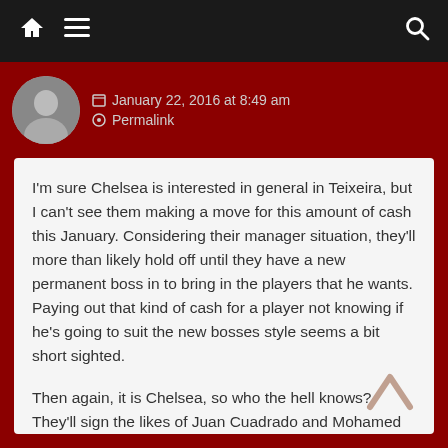Navigation bar with home, menu, and search icons
January 22, 2016 at 8:49 am
Permalink
I'm sure Chelsea is interested in general in Teixeira, but I can't see them making a move for this amount of cash this January. Considering their manager situation, they'll more than likely hold off until they have a new permanent boss in to bring in the players that he wants. Paying out that kind of cash for a player not knowing if he's going to suit the new bosses style seems a bit short sighted.

Then again, it is Chelsea, so who the hell knows? They'll sign the likes of Juan Cuadrado and Mohamed Salah for fun and do absolutely nothing with them.